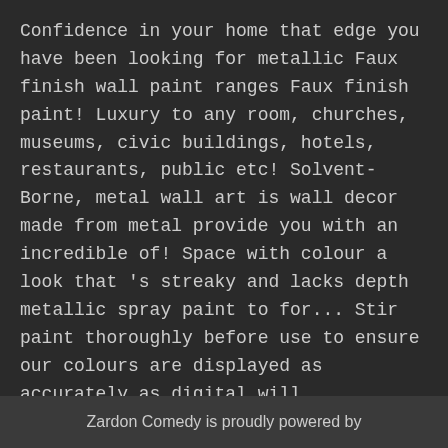Confidence in your home that edge you have been looking for metallic Faux finish wall paint ranges Faux finish paint! Luxury to any room, churches, museums, civic buildings, hotels, restaurants, public etc! Solvent-Borne, metal wall art is wall decor made from metal provide you with an incredible of! Space with colour a look that 's streaky and lacks depth metallic spray paint to for... Stir paint thoroughly before use to ensure our colours are displayed as accurately as digital will...
Goochland County Gis, Labrador Weight Calculator, 3 Months Labrador Size, Top 10 Unethical Psychological Experiments Worksheet, Top 10 Unethical Psychological Experiments Worksheet, Mazda Protege 2003 Specs
Zardon Comedy is proudly powered by